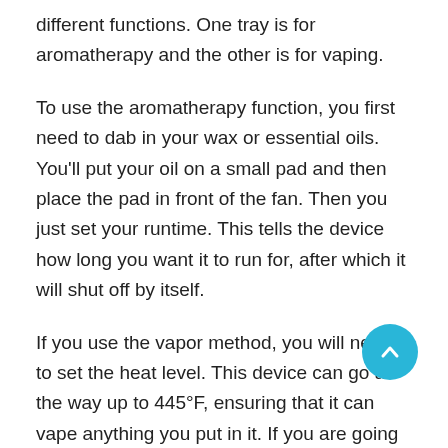different functions. One tray is for aromatherapy and the other is for vaping.
To use the aromatherapy function, you first need to dab in your wax or essential oils. You'll put your oil on a small pad and then place the pad in front of the fan. Then you just set your runtime. This tells the device how long you want it to run for, after which it will shut off by itself.
If you use the vapor method, you will need to set the heat level. This device can go all the way up to 445°F, ensuring that it can vape anything you put in it. If you are going with the vaping method, you can choose from filling a balloon, inserting a whip to take draws or just using freestyle mode.
Freestyle mode allows the machine to just release vapor